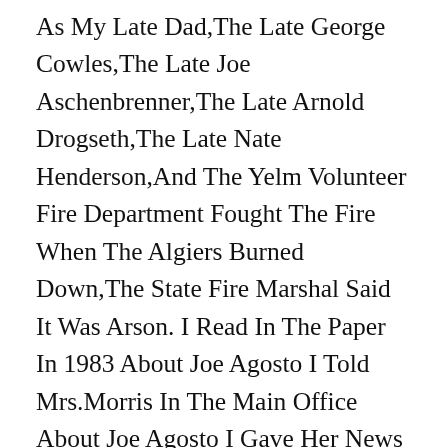As My Late Dad,The Late George Cowles,The Late Joe Aschenbrenner,The Late Arnold Drogseth,The Late Nate Henderson,And The Yelm Volunteer Fire Department Fought The Fire When The Algiers Burned Down,The State Fire Marshal Said It Was Arson. I Read In The Paper In 1983 About Joe Agosto I Told Mrs.Morris In The Main Office About Joe Agosto I Gave Her News Clippings Of Joe Agosto When I Was A Senior In High School 83-84,I Seen Agosto's Picture On The Internet,I Don't See Mary Agosto Anymore I Have Not Seen Her In More Than 40 Years Since 1974 After The Algiers Restaurant Burned Down In 1974. Ronnie Smith Is Still Alive Connie Turner Died,Frank Fesler Died,The Yelmmites Are Dead,Roy Swenson Died More Of The Men...